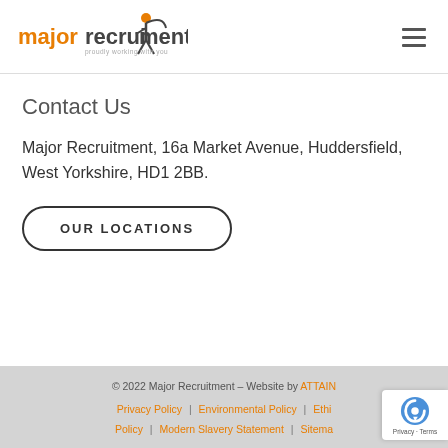[Figure (logo): Major Recruitment logo with stylized figure icon and tagline 'proudly working with you']
Contact Us
Major Recruitment, 16a Market Avenue, Huddersfield, West Yorkshire, HD1 2BB.
OUR LOCATIONS
© 2022 Major Recruitment – Website by ATTAIN | Privacy Policy | Environmental Policy | Ethics Policy | Modern Slavery Statement | Sitemap